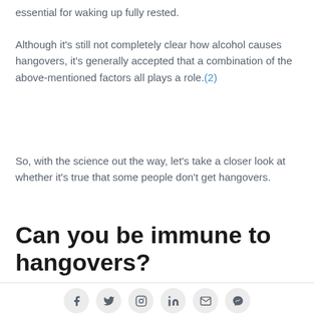essential for waking up fully rested.
Although it's still not completely clear how alcohol causes hangovers, it's generally accepted that a combination of the above-mentioned factors all plays a role.(2)
So, with the science out the way, let's take a closer look at whether it's true that some people don't get hangovers.
Can you be immune to hangovers?
[Figure (infographic): Social sharing icons row: Facebook, Twitter, Instagram, LinkedIn, Email, Messenger]